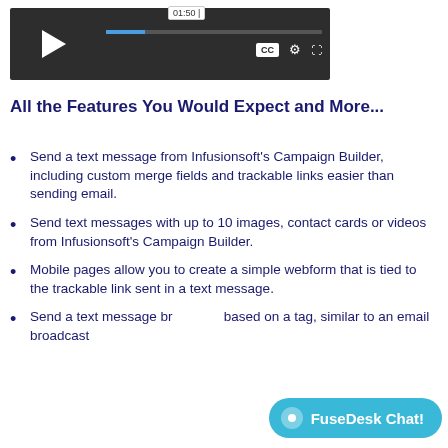[Figure (screenshot): Video player controls showing play button, timestamp 01:50, progress bar, CC button, settings gear icon, and fullscreen expand icon on a dark background]
All the Features You Would Expect and More...
Send a text message from Infusionsoft's Campaign Builder, including custom merge fields and trackable links easier than sending email.
Send text messages with up to 10 images, contact cards or videos from Infusionsoft's Campaign Builder.
Mobile pages allow you to create a simple webform that is tied to the trackable link sent in a text message.
Send a text message broadcast based on a tag, similar to an email broadcast